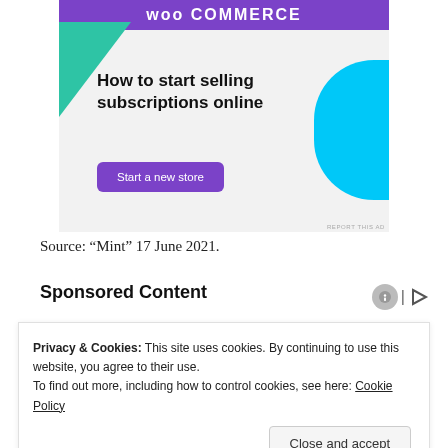[Figure (illustration): WooCommerce advertisement banner with purple header, green triangle shape, blue quarter-circle shape, bold headline 'How to start selling subscriptions online', and a purple 'Start a new store' button on a light grey background.]
Source: “Mint” 17 June 2021.
Sponsored Content
Privacy & Cookies: This site uses cookies. By continuing to use this website, you agree to their use.
To find out more, including how to control cookies, see here: Cookie Policy
[Close and accept]